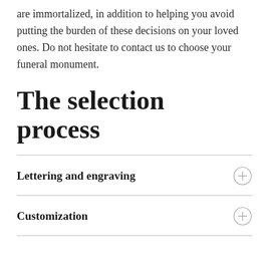allow you to ensure that your preferences are immortalized, in addition to helping you avoid putting the burden of these decisions on your loved ones. Do not hesitate to contact us to choose your funeral monument.
The selection process
Lettering and engraving
Customization